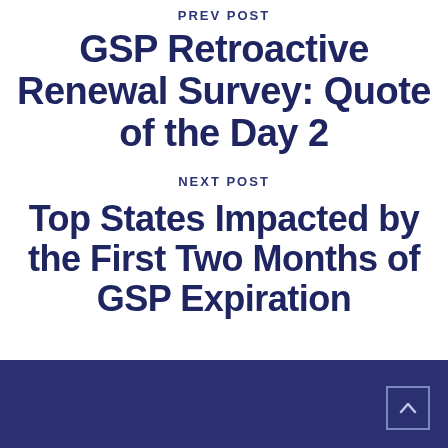PREV POST
GSP Retroactive Renewal Survey: Quote of the Day 2
NEXT POST
Top States Impacted by the First Two Months of GSP Expiration